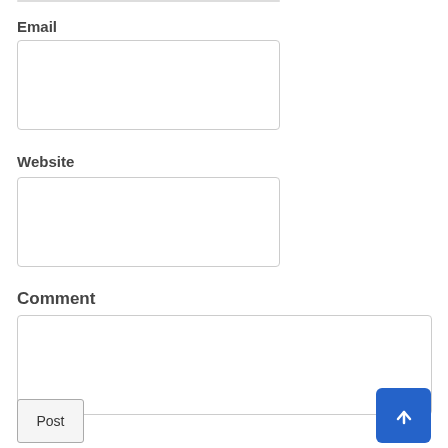Email
[Figure (other): Email input text field (empty)]
Website
[Figure (other): Website input text field (empty)]
Comment
[Figure (other): Comment textarea (empty), with resize handle]
[Figure (other): Blue scroll-to-top button with upward arrow]
Post